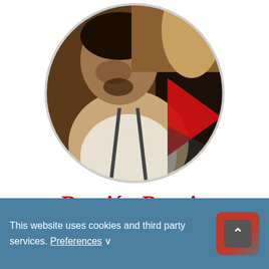[Figure (photo): Circular cropped photo of Damián Boggio, a man in a white shirt with suspenders, posed near a piano. A red play button triangle is overlaid in the center of the image.]
Damián Boggio
This website uses cookies and third party services. Preferences ∨